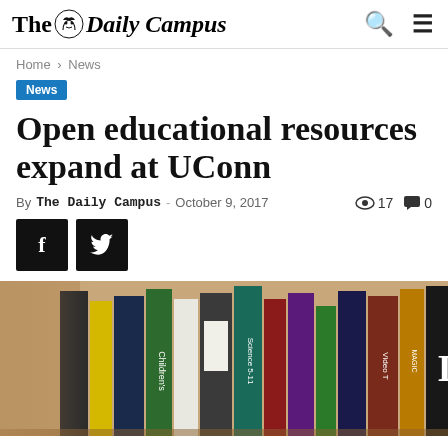The Daily Campus
Home › News
News
Open educational resources expand at UConn
By The Daily Campus - October 9, 2017  👁 17  💬 0
[Figure (photo): Row of colorful textbooks and educational books on a shelf, photographed with shallow depth of field.]